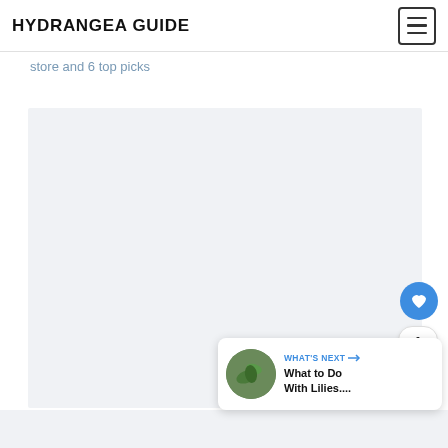HYDRANGEA GUIDE
store and 6 top picks
[Figure (photo): Large light gray placeholder image area for hydrangea-related photo content]
1
WHAT'S NEXT → What to Do With Lilies....